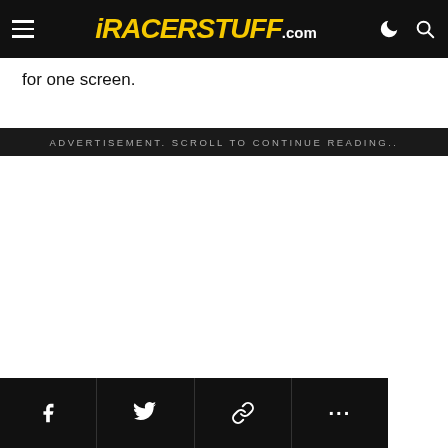iRACERSTUFF.com
for one screen.
ADVERTISEMENT. SCROLL TO CONTINUE READING..
Social share bar: Facebook, Twitter, Link, More